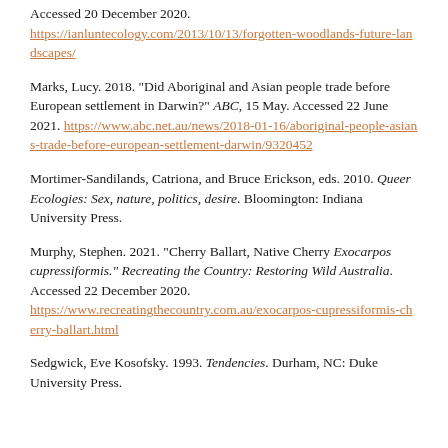Accessed 20 December 2020. https://ianluntecology.com/2013/10/13/forgotten-woodlands-future-landscapes/
Marks, Lucy. 2018. "Did Aboriginal and Asian people trade before European settlement in Darwin?" ABC, 15 May. Accessed 22 June 2021. https://www.abc.net.au/news/2018-01-16/aboriginal-people-asians-trade-before-european-settlement-darwin/9320452
Mortimer-Sandilands, Catriona, and Bruce Erickson, eds. 2010. Queer Ecologies: Sex, nature, politics, desire. Bloomington: Indiana University Press.
Murphy, Stephen. 2021. "Cherry Ballart, Native Cherry Exocarpos cupressiformis." Recreating the Country: Restoring Wild Australia. Accessed 22 December 2020. https://www.recreatingthecountry.com.au/exocarpos-cupressiformis-cherry-ballart.html
Sedgwick, Eve Kosofsky. 1993. Tendencies. Durham, NC: Duke University Press.